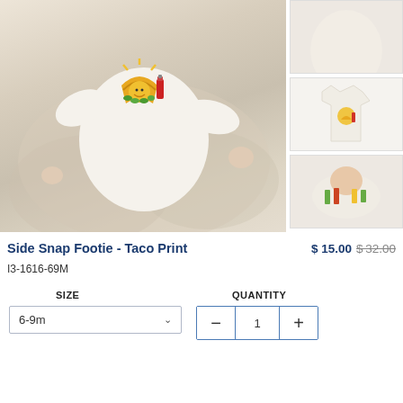[Figure (photo): Baby wearing a white footie onesie with a taco cartoon graphic, lying on a light beige blanket/bedding. The main large product photo.]
[Figure (photo): Thumbnail 1 - partial/cropped view of the product]
[Figure (photo): Thumbnail 2 - flat lay of the white footie onesie with taco print]
[Figure (photo): Thumbnail 3 - baby lying on back with the footie onesie]
Side Snap Footie - Taco Print
$ 15.00  $32.00
I3-1616-69M
SIZE
QUANTITY
6-9m
1